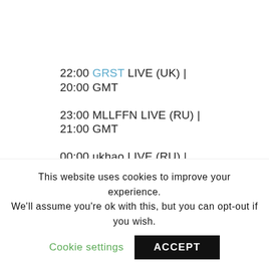22:00 GRST LIVE (UK) | 20:00 GMT
23:00 MLLFFN LIVE (RU) | 21:00 GMT
00:00 ukhao LIVE (RU) | 22:00 GMT
01:00 Peter Kirn LIVE (US/DE) feat. Valentin Tszin Dancing (RU/DE) | 23:00 GMT
02:00 Ewa Justka LIVE (PL/UK) | 00:00 GMT
03:00 Kamikaze Space Programme (UK/DE) |
This website uses cookies to improve your experience. We'll assume you're ok with this, but you can opt-out if you wish.
Cookie settings
ACCEPT